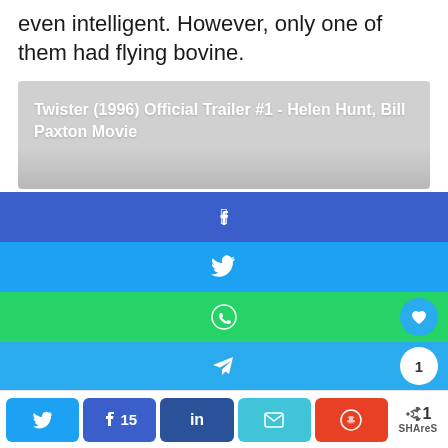even intelligent. However, only one of them had flying bovine.
[Figure (screenshot): Video thumbnail placeholder showing title: Twister (1996) Official Trailer #1 - Helen Hunt, Bill Paxton Movie]
Show More ∨
[Figure (infographic): Social sharing buttons: Facebook (blue), Twitter (light blue), WhatsApp (green) with heart icon, Telegram (blue) with count 1]
[Figure (infographic): Bottom share bar with Twitter, Facebook (15), LinkedIn, Email, Reddit buttons, and total share count 1 SHAreS]